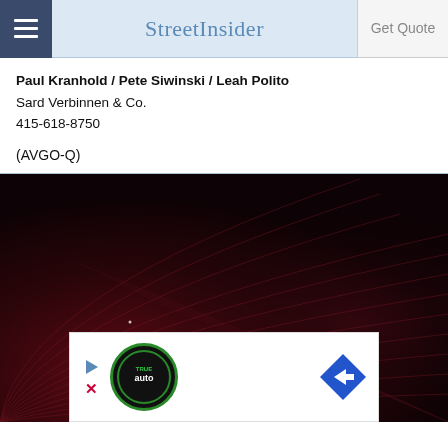StreetInsider
Paul Kranhold / Pete Siwinski / Leah Polito
Sard Verbinnen & Co.
415-618-8750
(AVGO-Q)
[Figure (other): Dark red abstract visualization with curved lines and scattered white dots, partially covered by a whitebox ad overlay featuring a circular logo with 'true auto' text and a blue diamond-shaped arrow icon.]